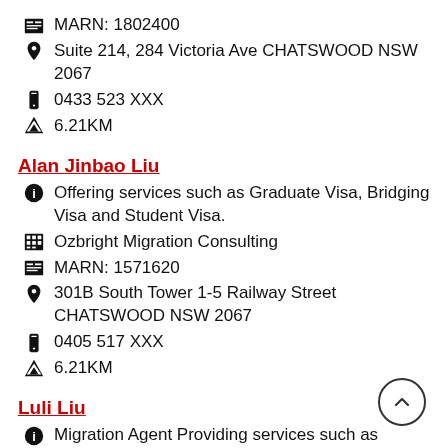MARN: 1802400
Suite 214, 284 Victoria Ave CHATSWOOD NSW 2067
0433 523 XXX
6.21KM
Alan Jinbao Liu
Offering services such as Graduate Visa, Bridging Visa and Student Visa.
Ozbright Migration Consulting
MARN: 1571620
301B South Tower 1-5 Railway Street CHATSWOOD NSW 2067
0405 517 XXX
6.21KM
Luli Liu
Migration Agent Providing services such as Prospective Marriage Visa, Australian Citizenship and Medical Visa.
Hitchcock & Associates